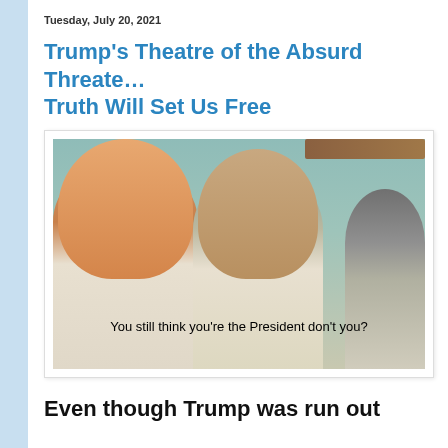Tuesday, July 20, 2021
Trump's Theatre of the Absurd Threatens Truth Will Set Us Free
[Figure (photo): Meme image showing two men in white garments sitting against a wall, with Trump's face digitally placed on the left figure, and Jack Nicholson in the center. A subtitle reads: 'You still think you're the President don't you?']
Even though Trump was run out